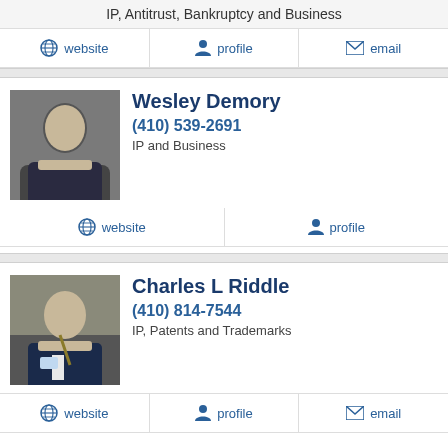IP, Antitrust, Bankruptcy and Business
website  profile  email
Wesley Demory
(410) 539-2691
IP and Business
website  profile
Charles L Riddle
(410) 814-7544
IP, Patents and Trademarks
website  profile  email